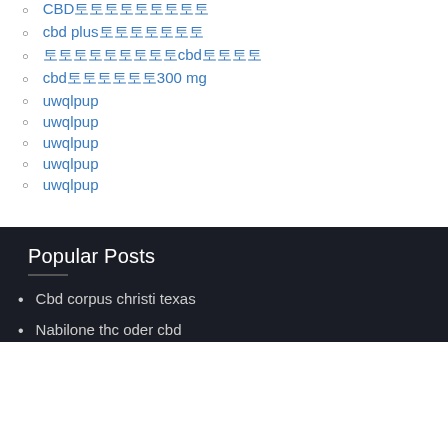CBD토토토토토토토토토
cbd plus토토토토토토토
토토토토토토토토토cbd토토토토
cbd토토토토토토300 mg
uwqlpup
uwqlpup
uwqlpup
uwqlpup
uwqlpup
Popular Posts
Cbd corpus christi texas
Nabilone thc oder cbd